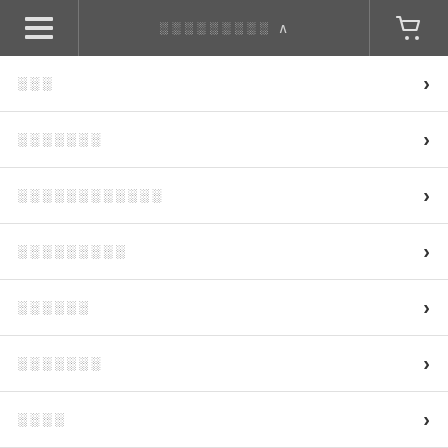≡  ░░░░░░░░  ∧  🛒
░░░  ›
░░░░░░░  ›
░░░░░░░░░░░░  ›
░░░░░░░░░  ›
░░░░░░  ›
░░░░░░░  ›
░░░░  ›